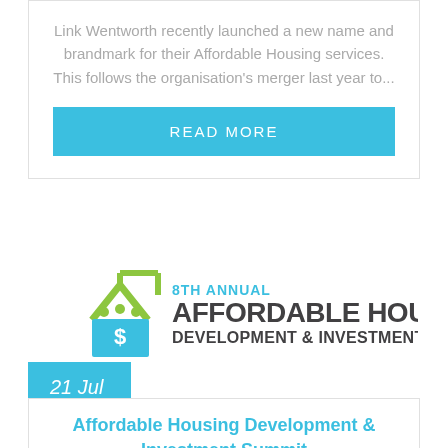Link Wentworth recently launched a new name and brandmark for their Affordable Housing services. This follows the organisation's merger last year to...
READ MORE
[Figure (logo): 8th Annual Affordable Housing Development & Investment Summit logo with green house icon and dollar sign]
21 Jul
Affordable Housing Development & Investment Summit